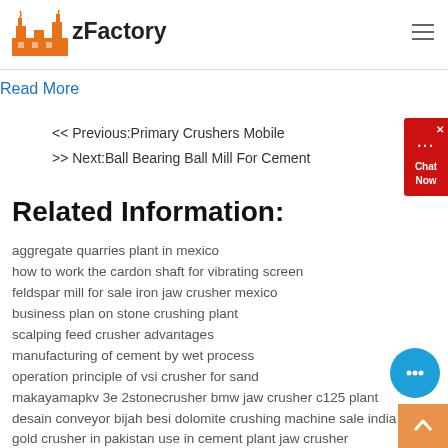zFactory
Read More
<< Previous:Primary Crushers Mobile
>> Next:Ball Bearing Ball Mill For Cement
Related Information:
aggregate quarries plant in mexico
how to work the cardon shaft for vibrating screen
feldspar mill for sale iron jaw crusher mexico
business plan on stone crushing plant
scalping feed crusher advantages
manufacturing of cement by wet process
operation principle of vsi crusher for sand
makayamapkv 3e 2stonecrusher bmw jaw crusher c125 plant
desain conveyor bijih besi dolomite crushing machine sale india
gold crusher in pakistan use in cement plant jaw crusher